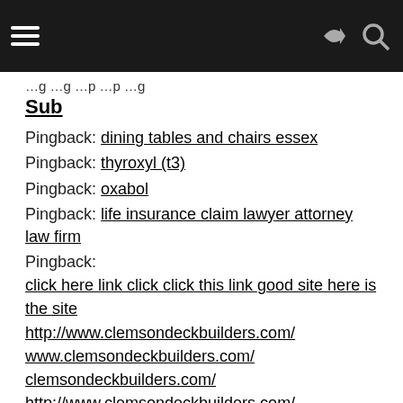[navigation bar with hamburger menu, share and search icons]
…g …g …p …p …g
Sub
Pingback: dining tables and chairs essex
Pingback: thyroxyl (t3)
Pingback: oxabol
Pingback: life insurance claim lawyer attorney law firm
Pingback: click here link click click this link good site here is the site http://www.clemsondeckbuilders.com/ www.clemsondeckbuilders.com/ clemsondeckbuilders.com/ http://www.clemsondeckbuilders.com/ www.clemsondeckbuilders.com/ clemsondeckbuilders.com/ http://www